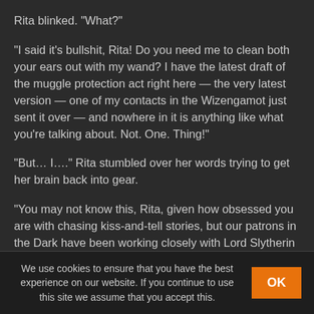Rita blinked. "What?"
"I said it's bullshit, Rita! Do you need me to clean both your ears out with my wand? I have the latest draft of the muggle protection act right here — the very latest version — one of my contacts in the Wizengamot just sent it over — and nowhere in it is anything like what you're talking about. Not. One. Thing!"
"But… I…." Rita stumbled over her words trying to get her brain back into gear.
"You may not know this, Rita, given how obsessed you are with chasing kiss-and-tell stories, but our patrons in the Dark have been working closely with Lord Slytherin since the Winter Festival on this act. Do you really think Lord
We use cookies to ensure that you have the best experience on our website. If you continue to use this site we assume that you accept this.